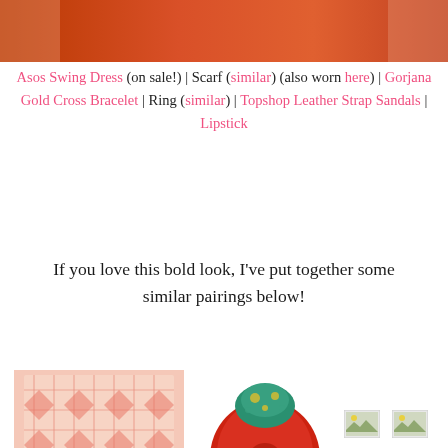[Figure (photo): Cropped photo of person wearing orange/red outfit, visible from waist down]
Asos Swing Dress (on sale!) | Scarf (similar) (also worn here) | Gorjana Gold Cross Bracelet | Ring (similar) | Topshop Leather Strap Sandals | Lipstick
If you love this bold look, I've put together some similar pairings below!
[Figure (photo): Pink/coral patterned scarf/blanket with tassels]
[Figure (photo): Red floral silk scarf knotted]
[Figure (photo): Small placeholder image (broken)]
[Figure (photo): Small placeholder image (broken)]
[Figure (photo): Model wearing pink floral mini dress]
[Figure (photo): Model wearing orange/red swing dress]
[Figure (photo): Small placeholder image (broken)]
[Figure (photo): Model wearing coral/peach halter dress]